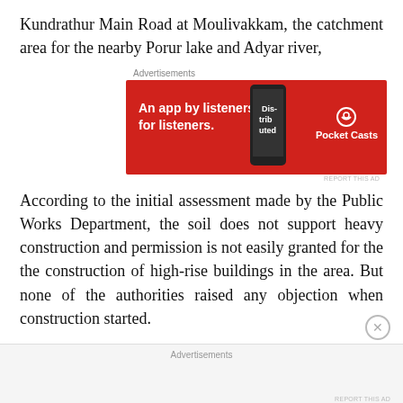Kundrathur Main Road at Moulivakkam, the catchment area for the nearby Porur lake and Adyar river,
[Figure (other): Advertisement banner for Pocket Casts app: red background with text 'An app by listeners, for listeners.' and Pocket Casts logo with a phone image showing 'Distributed']
According to the initial assessment made by the Public Works Department, the soil does not support heavy construction and permission is not easily granted for the the construction of high-rise buildings in the area. But none of the authorities raised any objection when construction started.
'The Faith' had four apartments of two BHK on each floor, and 'The Belief' has four apartments of three BHK on each floor